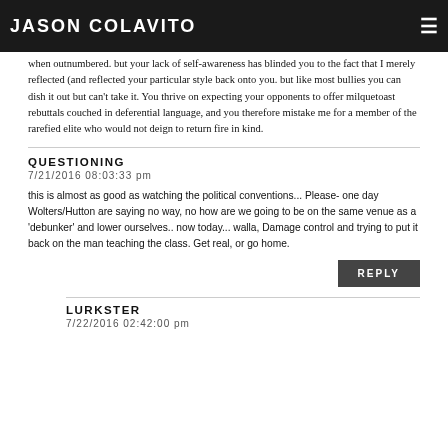JASON COLAVITO
when outnumbered. but your lack of self-awareness has blinded you to the fact that I merely reflected (and reflected your particular style back onto you. but like most bullies you can dish it out but can't take it. You thrive on expecting your opponents to offer milquetoast rebuttals couched in deferential language, and you therefore mistake me for a member of the rarefied elite who would not deign to return fire in kind.
QUESTIONING
7/21/2016 08:03:33 pm
this is almost as good as watching the political conventions... Please- one day Wolters/Hutton are saying no way, no how are we going to be on the same venue as a 'debunker' and lower ourselves.. now today... walla, Damage control and trying to put it back on the man teaching the class. Get real, or go home.
REPLY
LURKSTER
7/22/2016 02:42:00 pm